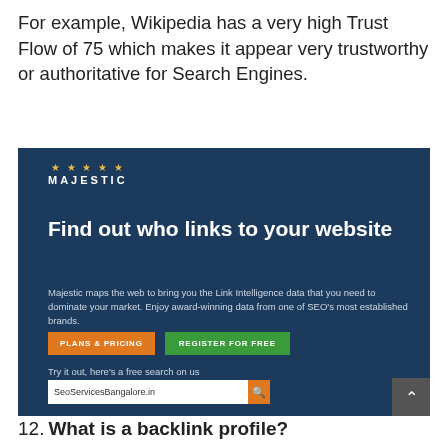For example, Wikipedia has a very high Trust Flow of 75 which makes it appear very trustworthy or authoritative for Search Engines.
[Figure (screenshot): Screenshot of the Majestic SEO tool website showing the headline 'Find out who links to your website', a description paragraph, two buttons labeled 'PLANS & PRICING' and 'REGISTER FOR FREE', and a search bar with 'SeoServicesBangalore.in' entered.]
12. What is a backlink profile?